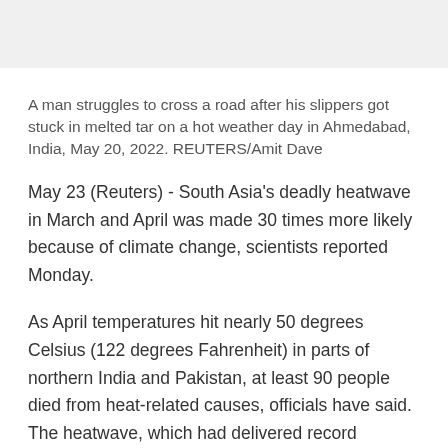A man struggles to cross a road after his slippers got stuck in melted tar on a hot weather day in Ahmedabad, India, May 20, 2022. REUTERS/Amit Dave
May 23 (Reuters) - South Asia's deadly heatwave in March and April was made 30 times more likely because of climate change, scientists reported Monday.
As April temperatures hit nearly 50 degrees Celsius (122 degrees Fahrenheit) in parts of northern India and Pakistan, at least 90 people died from heat-related causes, officials have said. The heatwave, which had delivered record temperatures in India in March, also badly damaged the country's winter